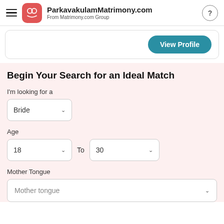ParkavakulamMatrimony.com — From Matrimony.com Group
[Figure (screenshot): View Profile button inside a card]
Begin Your Search for an Ideal Match
I'm looking for a
Bride (dropdown)
Age
18 To 30 (dropdowns)
Mother Tongue
Mother tongue (dropdown)